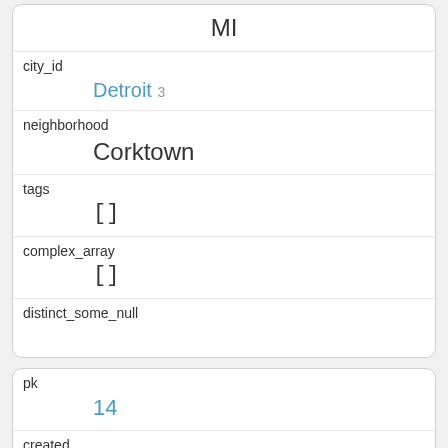| MI |
| city_id | Detroit 3 |
| neighborhood | Corktown |
| tags | [] |
| complex_array | [] |
| distinct_some_null |  |
| pk | 14 |
| created | 2019-01-17 08:00:00 |
| planet_int | 1 |
| on_earth | 1 |